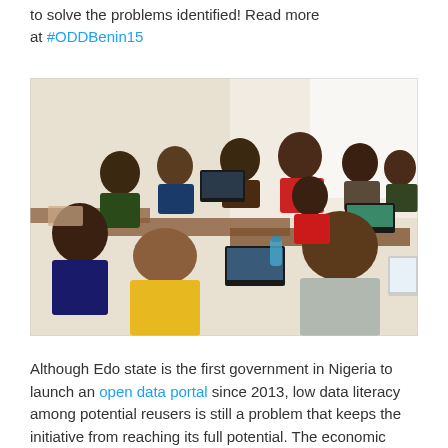to solve the problems identified! Read more at #ODDBenin15
[Figure (photo): Group of people sitting around tables in a meeting room with laptops and tablets, appearing to be a workshop or hackathon event]
Although Edo state is the first government in Nigeria to launch an open data portal since 2013, low data literacy among potential reusers is still a problem that keeps the initiative from reaching its full potential. The economic benefits